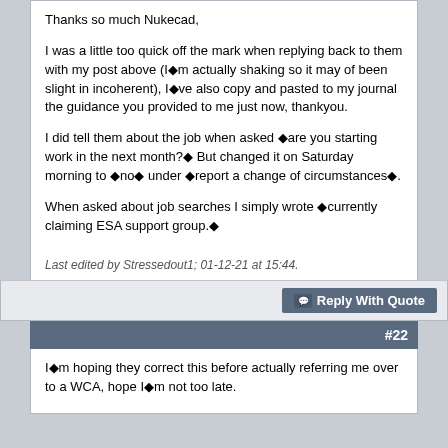Thanks so much Nukecad,

I was a little too quick off the mark when replying back to them with my post above (I◆m actually shaking so it may of been slight in incoherent), I◆ve also copy and pasted to my journal the guidance you provided to me just now, thankyou.

I did tell them about the job when asked ◆are you starting work in the next month?◆ But changed it on Saturday morning to ◆no◆ under ◆report a change of circumstances◆.

When asked about job searches I simply wrote ◆currently claiming ESA support group.◆
Last edited by Stressedout1; 01-12-21 at 15:44.
Reply With Quote
#22
I◆m hoping they correct this before actually referring me over to a WCA, hope I◆m not too late.